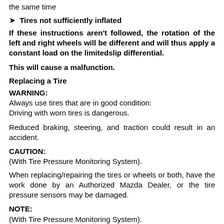the same time
➤ Tires not sufficiently inflated
If these instructions aren't followed, the rotation of the left and right wheels will be different and will thus apply a constant load on the limitedslip differential.
This will cause a malfunction.
Replacing a Tire
WARNING:
Always use tires that are in good condition:
Driving with worn tires is dangerous.
Reduced braking, steering, and traction could result in an accident.
CAUTION:
(With Tire Pressure Monitoring System).
When replacing/repairing the tires or wheels or both, have the work done by an Authorized Mazda Dealer, or the tire pressure sensors may be damaged.
NOTE:
(With Tire Pressure Monitoring System).